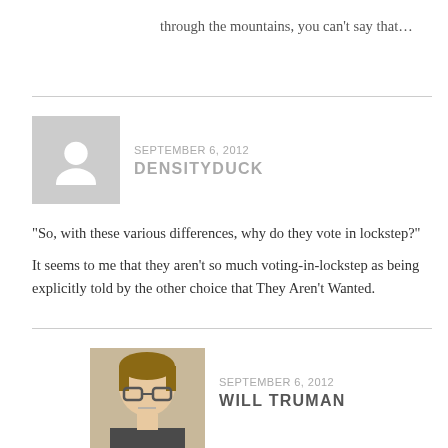through the mountains, you can’t say that…
SEPTEMBER 6, 2012
DENSITYDUCK
“So, with these various differences, why do they vote in lockstep?”
It seems to me that they aren’t so much voting-in-lockstep as being explicitly told by the other choice that They Aren’t Wanted.
SEPTEMBER 6, 2012
WILL TRUMAN
There is a fair amount of reciprocal animosity. I don’t know about the “explicit” part, but there is a common cultural alienation.